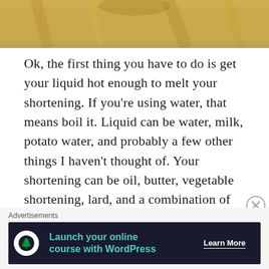[Figure (photo): Partial photo of a wooden surface, likely a guitar body, showing warm amber/golden wood grain at the top of the page]
Ok, the first thing you have to do is get your liquid hot enough to melt your shortening. If you're using water, that means boil it. Liquid can be water, milk, potato water, and probably a few other things I haven't thought of. Your shortening can be oil, butter, vegetable shortening, lard, and a combination of those things. Grandma's bread used both butter and vegetable shortening. Like her, I only make that at the holidays.
Advertisements
[Figure (screenshot): Advertisement banner: dark background with WordPress tree logo icon, teal text 'Launch your online course with WordPress', and white 'Learn More' button with underline]